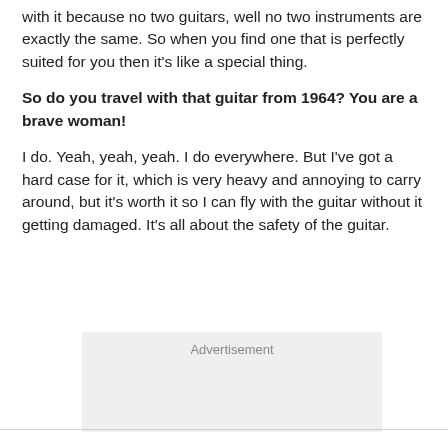with it because no two guitars, well no two instruments are exactly the same. So when you find one that is perfectly suited for you then it’s like a special thing.
So do you travel with that guitar from 1964? You are a brave woman!
I do. Yeah, yeah, yeah. I do everywhere. But I’ve got a hard case for it, which is very heavy and annoying to carry around, but it’s worth it so I can fly with the guitar without it getting damaged. It’s all about the safety of the guitar.
[Figure (other): Advertisement placeholder box]